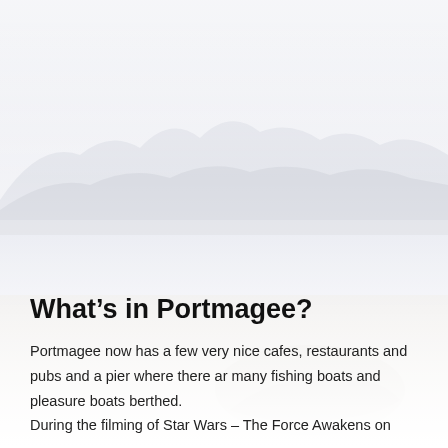[Figure (photo): Faded/washed-out landscape photograph showing mountains in the background and a flat coastal or estuary area in the foreground, with very light, nearly white tones throughout.]
What's in Portmagee?
Portmagee now has a few very nice cafes, restaurants and pubs and a pier where there ar many fishing boats and pleasure boats berthed.
During the filming of Star Wars – The Force Awakens on